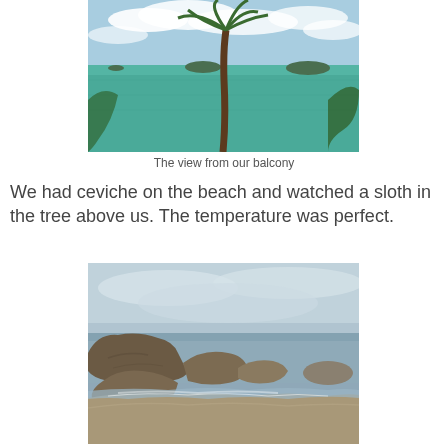[Figure (photo): View of a turquoise sea with small islands in the background, palm tree in the foreground, blue sky with clouds. Taken from an elevated balcony viewpoint.]
The view from our balcony
We had ceviche on the beach and watched a sloth in the tree above us. The temperature was perfect.
[Figure (photo): Rocky beach scene with large boulders and rocky outcroppings along the shoreline, ocean waves washing onto sandy beach, overcast sky.]